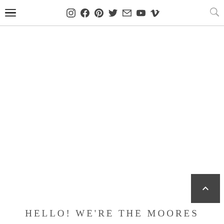☰ (menu) | social icons: Instagram, Facebook, Pinterest, Twitter, Email, YouTube, Vimeo | search
[Figure (other): Large white/empty content area below the navigation header]
[Figure (other): Dark grey back-to-top button with upward chevron arrow in bottom right corner]
HELLO! WE'RE THE MOORES